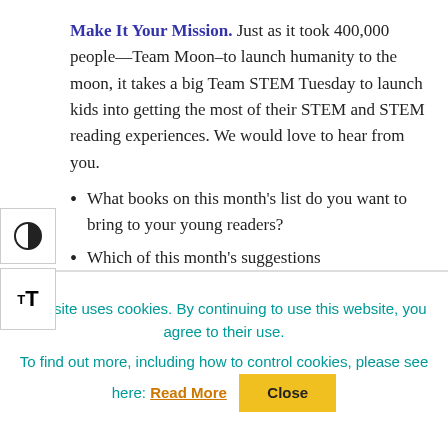Make It Your Mission. Just as it took 400,000 people—Team Moon–to launch humanity to the moon, it takes a big Team STEM Tuesday to launch kids into getting the most of their STEM and STEM reading experiences. We would love to hear from you.
What books on this month's list do you want to bring to your young readers?
Which of this month's suggestions
This site uses cookies. By continuing to use this website, you agree to their use.
To find out more, including how to control cookies, please see here: Read More